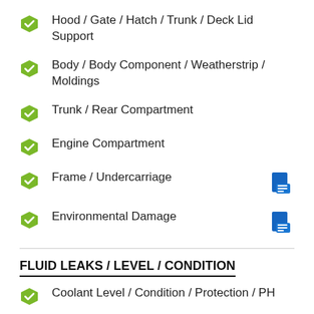Hood / Gate / Hatch / Trunk / Deck Lid Support
Body / Body Component / Weatherstrip / Moldings
Trunk / Rear Compartment
Engine Compartment
Frame / Undercarriage
Environmental Damage
FLUID LEAKS / LEVEL / CONDITION
Coolant Level / Condition / Protection / PH
Engine Oil Level /